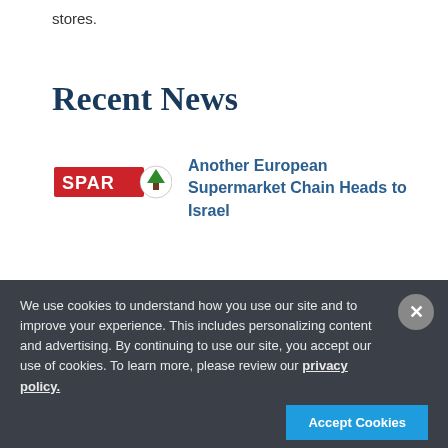stores.
Recent News
[Figure (logo): SPAR supermarket logo — red rectangle with SPAR text and green tree icon]
Another European Supermarket Chain Heads to Israel
[Figure (logo): Bravo Pizza logo with red text and building icon]
Forward Names its Five Leading Kosher Pizza Stores with Bravo Named #1
We use cookies to understand how you use our site and to improve your experience. This includes personalizing content and advertising. By continuing to use our site, you accept our use of cookies. To learn more, please review our privacy policy.